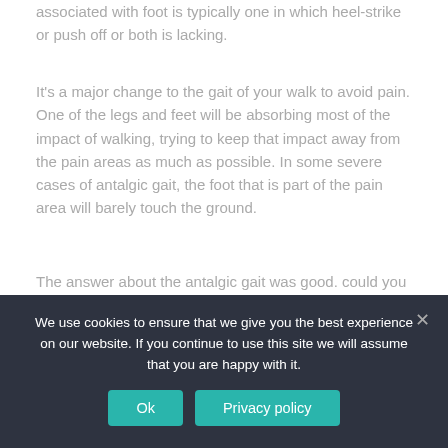associated with foot is typically one in which heel-strike or push off or both is lacking.
It's a major change to the gait of your walk to avoid pain. One of the legs and feet will be absorbing most of the impact of walking, trying to keep that impact away from the pain areas as much as possible. In some severe cases of antalgic gait, the foot that is part of the pain area will barely touch the ground.
The answer about the antalgic gait was good. could you give me more information please. When a patient has a corn The answer about the antalgic gait was
We use cookies to ensure that we give you the best experience on our website. If you continue to use this site we will assume that you are happy with it.